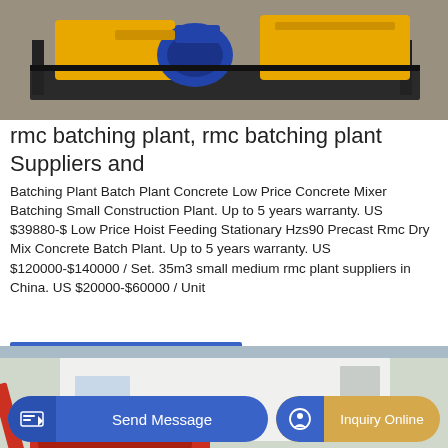[Figure (photo): Industrial concrete batching plant machinery, yellow and blue equipment on a dark metal frame platform, in a warehouse/factory setting]
rmc batching plant, rmc batching plant Suppliers and
Batching Plant Batch Plant Concrete Low Price Concrete Mixer Batching Small Construction Plant. Up to 5 years warranty. US $39880-$ Low Price Hoist Feeding Stationary Hzs90 Precast Rmc Dry Mix Concrete Batch Plant. Up to 5 years warranty. US $120000-$140000 / Set. 35m3 small medium rmc plant suppliers in China. US $20000-$60000 / Unit
[Figure (photo): Red concrete mixer truck or equipment near a large white industrial building, outdoor setting]
GET A QUOTE
Send Message
Inquiry Online